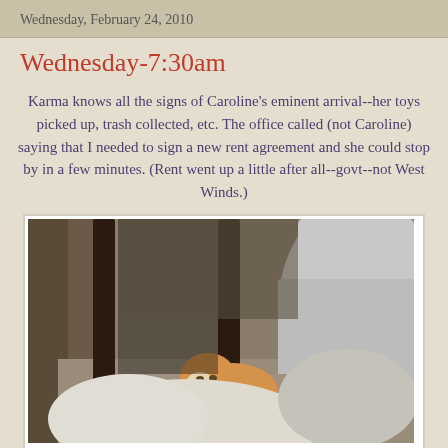Wednesday, February 24, 2010
Wednesday-7:30am
Karma knows all the signs of Caroline's eminent arrival--her toys picked up, trash collected, etc. The office called (not Caroline) saying that I needed to sign a new rent agreement and she could stop by in a few minutes. (Rent went up a little after all--govt--not West Winds.)
[Figure (photo): A cat hiding under a bed between furniture legs and white bedding/blanket, viewed from floor level. The cat appears to be an orange/white tabby with a red collar, crouching low on carpet.]
The second Karma heard someone knock on the door she